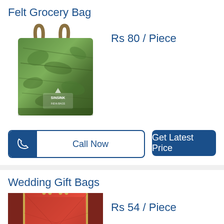Felt Grocery Bag
[Figure (photo): Green felt grocery bag with two handles, decorated with leaf pattern and logo]
Rs 80 / Piece
Call Now
Get Latest Price
Wedding Gift Bags
[Figure (photo): Red and gold wedding gift bag with handles and decorative label]
Rs 54 / Piece